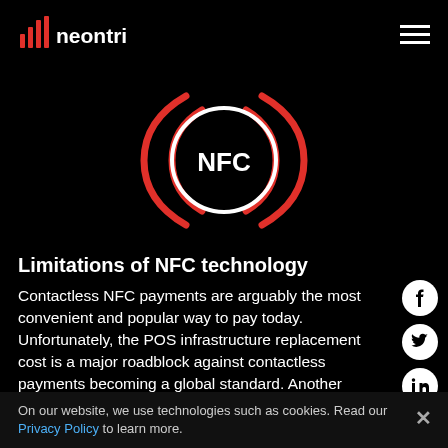neontri
[Figure (illustration): NFC logo: white circle with 'NFC' text in the center and red curved radio-wave lines on both sides, on a black background]
Limitations of NFC technology
Contactless NFC payments are arguably the most convenient and popular way to pay today. Unfortunately, the POS infrastructure replacement cost is a major roadblock against contactless payments becoming a global standard. Another problem is still low market penetration of high-end smartphones compatible with NFC payments.
On our website, we use technologies such as cookies. Read our Privacy Policy to learn more.